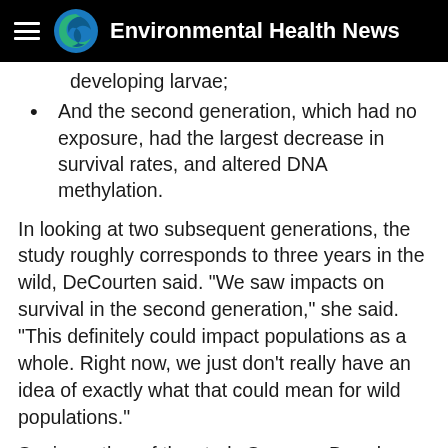Environmental Health News
developing larvae;
And the second generation, which had no exposure, had the largest decrease in survival rates, and altered DNA methylation.
In looking at two subsequent generations, the study roughly corresponds to three years in the wild, DeCourten said. "We saw impacts on survival in the second generation," she said. "This definitely could impact populations as a whole. Right now, we just don't really have an idea of exactly what that could mean for wild populations."
Senior author of the study Susanne Brander said